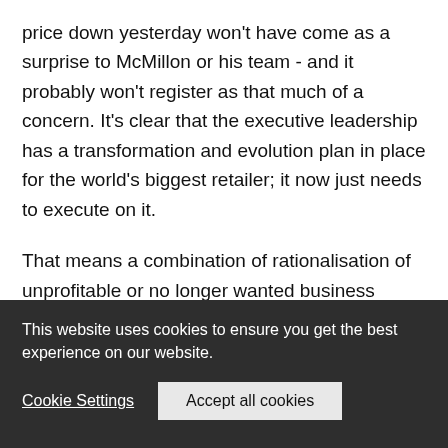price down yesterday won't have come as a surprise to McMillon or his team - and it probably won't register as that much of a concern. It's clear that the executive leadership has a transformation and evolution plan in place for the world's biggest retailer; it now just needs to execute on it.
That means a combination of rationalisation of unprofitable or no longer wanted business operations alongside hefty investment in areas for future growth.  And of course, it means keeping Wall Street
This website uses cookies to ensure you get the best experience on our website.
Cookie Settings
Accept all cookies